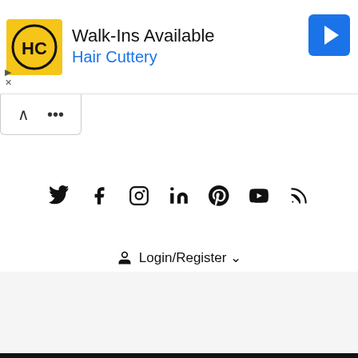[Figure (screenshot): Advertisement banner for Hair Cuttery: yellow logo box with HC initials, headline 'Walk-Ins Available', brand name 'Hair Cuttery' in blue, blue navigation arrow icon top right, play and close controls bottom left]
[Figure (other): Collapse/toggle tab with upward caret arrow, partially visible, indicating collapsible ad panel]
[Figure (infographic): Row of 7 social media icons: Twitter, Facebook, Instagram, LinkedIn, Pinterest, YouTube, RSS feed]
Login/Register ▾